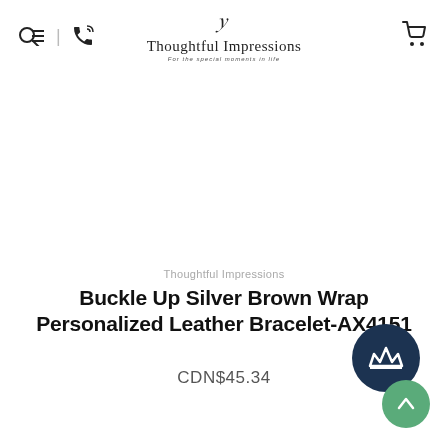Thoughtful Impressions — For the special moments in life
Thoughtful Impressions
Buckle Up Silver Brown Wrap Personalized Leather Bracelet-AX4151
CDN$45.34